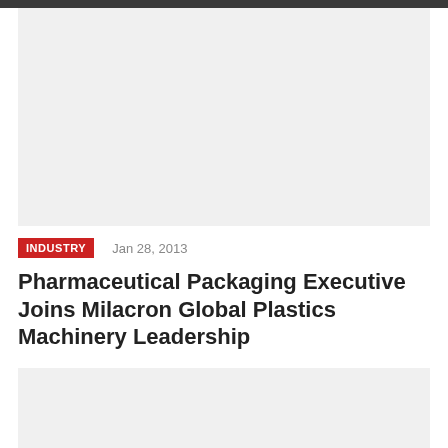[Figure (photo): Top image placeholder area, light gray background]
INDUSTRY   Jan 28, 2013
Pharmaceutical Packaging Executive Joins Milacron Global Plastics Machinery Leadership
[Figure (photo): Bottom image placeholder area, light gray background]